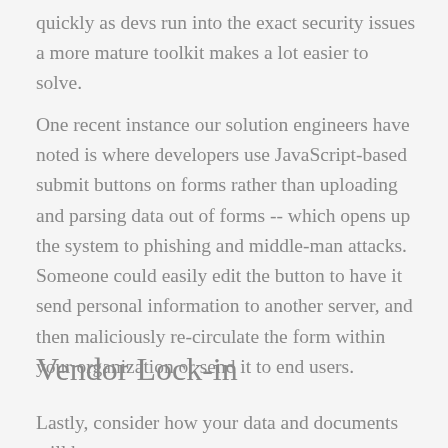quickly as devs run into the exact security issues a more mature toolkit makes a lot easier to solve.
One recent instance our solution engineers have noted is where developers use JavaScript-based submit buttons on forms rather than uploading and parsing data out of forms -- which opens up the system to phishing and middle-man attacks. Someone could easily edit the button to have it send personal information to another server, and then maliciously re-circulate the form within your organization or send it to end users.
Vendor Lock-in
Lastly, consider how your data and documents will be